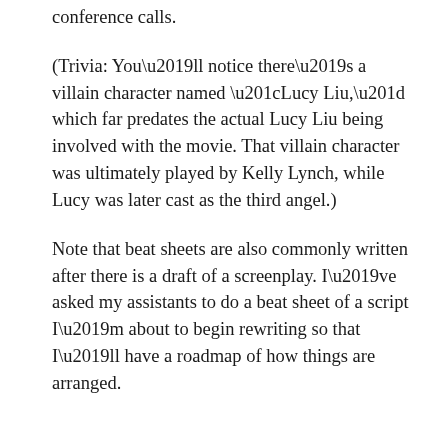conference calls.
(Trivia: You’ll notice there’s a villain character named “Lucy Liu,” which far predates the actual Lucy Liu being involved with the movie. That villain character was ultimately played by Kelly Lynch, while Lucy was later cast as the third angel.)
Note that beat sheets are also commonly written after there is a draft of a screenplay. I’ve asked my assistants to do a beat sheet of a script I’m about to begin rewriting so that I’ll have a roadmap of how things are arranged.